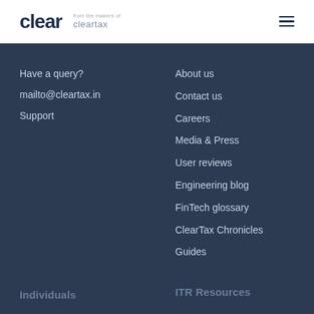[Figure (logo): Clear logo with 'from the makers of cleartax' tagline]
Have a query?
mailto@cleartax.in
Support
About us
Contact us
Careers
Media & Press
User reviews
Engineering blog
FinTech glossary
ClearTax Chronicles
Guides
Individuals
ITR Resources
ClearReturns
e-file ITR